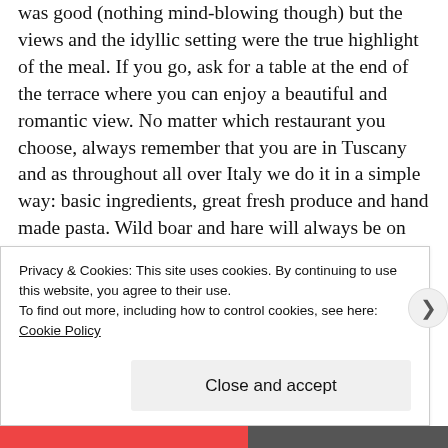was good (nothing mind-blowing though) but the views and the idyllic setting were the true highlight of the meal. If you go, ask for a table at the end of the terrace where you can enjoy a beautiful and romantic view. No matter which restaurant you choose, always remember that you are in Tuscany and as throughout all over Italy we do it in a simple way: basic ingredients, great fresh produce and hand made pasta. Wild boar and hare will always be on (almost) any Tuscan menu but obviously it will be fresh only when hunting season it's open (Autumn/Winter). The same goes for the white truffle (Tuber Magnatum Pico):
Privacy & Cookies: This site uses cookies. By continuing to use this website, you agree to their use.
To find out more, including how to control cookies, see here: Cookie Policy
Close and accept